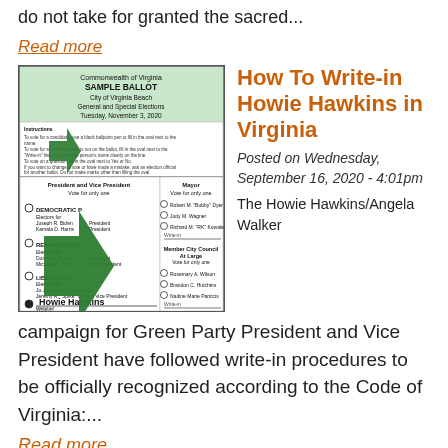do not take for granted the sacred...
Read more
[Figure (illustration): Sample Virginia ballot with green arrows pointing to the write-in line where 'Howie Hawkins' is written in]
How To Write-in Howie Hawkins in Virginia
Posted on Wednesday, September 16, 2020 - 4:01pm
The Howie Hawkins/Angela Walker campaign for Green Party President and Vice President have followed write-in procedures to be officially recognized according to the Code of Virginia:...
Read more
St...